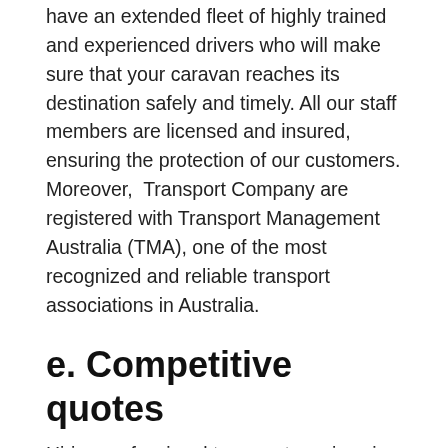have an extended fleet of highly trained and experienced drivers who will make sure that your caravan reaches its destination safely and timely. All our staff members are licensed and insured, ensuring the protection of our customers. Moreover,  Transport Company are registered with Transport Management Australia (TMA), one of the most recognized and reliable transport associations in Australia.
e. Competitive quotes
Hiring professional transport services is not cheap. You need to decide whether it is worth investing in a reliable and affordable service or just settling for the first quote you come across. It is essential to hire a transport service that offers quality services without compromising on the cost. Moving Cars is a reliable and efficient service provider that offers competitive